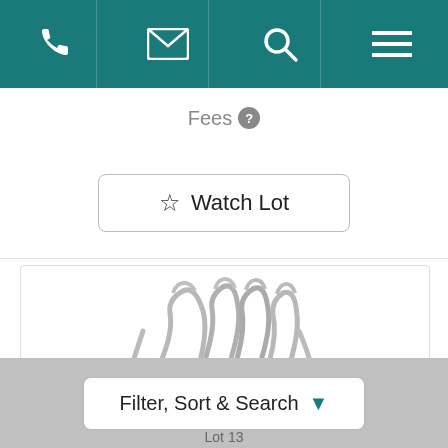Navigation bar with phone, mail, search, and menu icons
Fees
Watch Lot
[Figure (photo): Silver toast rack with ornate wire dividers and oval base, photographed on white background]
Filter, Sort & Search
Lot 13